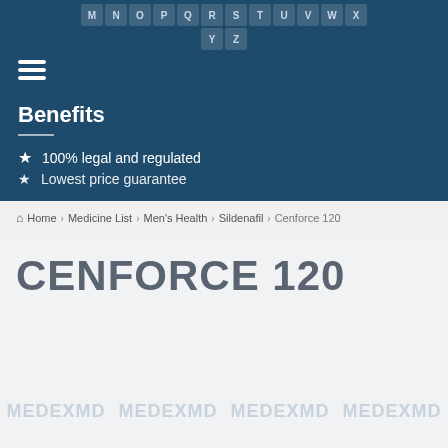M N O P Q R S T U V W X
Y Z
100% legal and regulated
Lowest price guarantee
Home > Medicine List > Men's Health > Sildenafil > Cenforce 120
CENFORCE 120
[Figure (other): Repeated MEDEXMD watermark text across the bottom of the page]